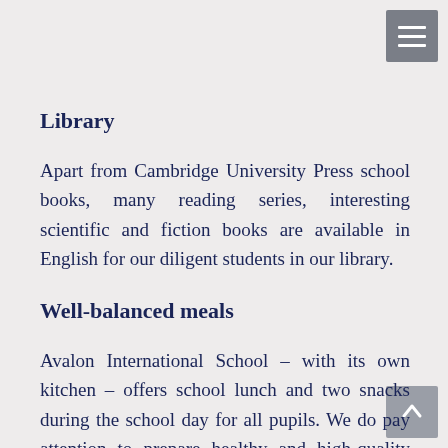Library
Apart from Cambridge University Press school books, many reading series, interesting scientific and fiction books are available in English for our diligent students in our library.
Well-balanced meals
Avalon International School – with its own kitchen – offers school lunch and two snacks during the school day for all pupils. We do pay attention to prepare healthy and high-quality food for the